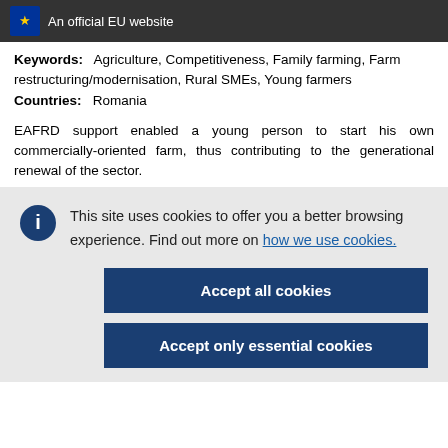An official EU website
Keywords: Agriculture, Competitiveness, Family farming, Farm restructuring/modernisation, Rural SMEs, Young farmers
Countries: Romania
EAFRD support enabled a young person to start his own commercially-oriented farm, thus contributing to the generational renewal of the sector.
This site uses cookies to offer you a better browsing experience. Find out more on how we use cookies.
Accept all cookies
Accept only essential cookies